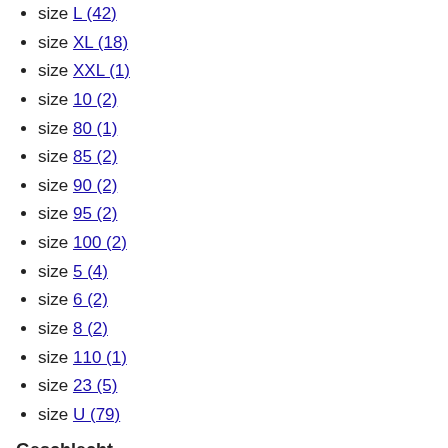size L (42)
size XL (18)
size XXL (1)
size 10 (2)
size 80 (1)
size 85 (2)
size 90 (2)
size 95 (2)
size 100 (2)
size 5 (4)
size 6 (2)
size 8 (2)
size 110 (1)
size 23 (5)
size U (79)
Geschlecht
Damen (25)
Herren (18)
Produkttyp
Mäntel (4)